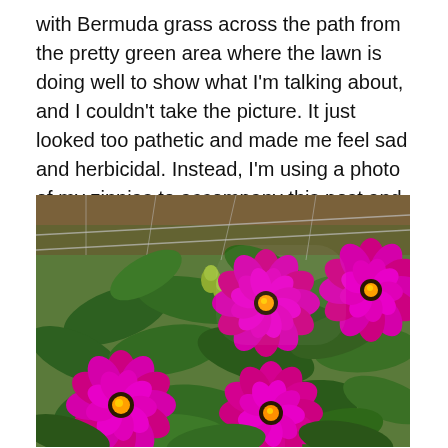with Bermuda grass across the path from the pretty green area where the lawn is doing well to show what I'm talking about, and I couldn't take the picture. It just looked too pathetic and made me feel sad and herbicidal. Instead, I'm using a photo of my zinnias to accompany this post and add a bit of cheer.
[Figure (photo): A close-up photograph of bright magenta/pink zinnia flowers blooming among large green leaves, with a wire fence visible in the background.]